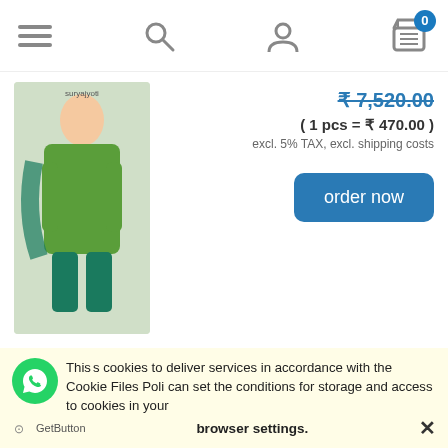[Figure (screenshot): Navigation bar with hamburger menu, search icon, user icon, and cart icon with badge showing 0]
₹ 7,520.00
( 1 pcs = ₹ 470.00 )
excl. 5% TAX, excl. shipping costs
[Figure (photo): Woman wearing green and teal printed Patiyala salwar suit with dupatta]
order now
Suryajyoti Trendy Patiyala Vol-6 Cotton Dress Material ( 15 Pcs Catalog )
[Figure (photo): Woman wearing red dress with Suryajyoti brand logo]
₹ 7,650.00
( 1 pcs = ₹ 510.00 )
This site uses cookies to deliver services in accordance with the Cookie Files Policy. You can set the conditions for storage and access to cookies in your browser settings.